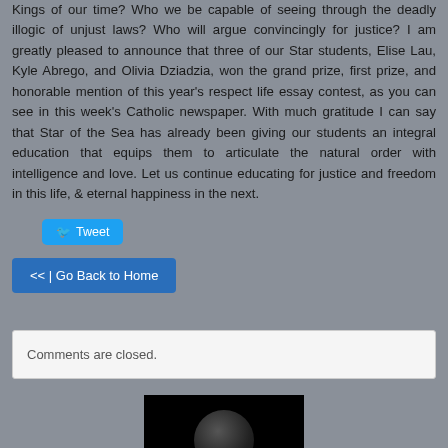Kings of our time? Who we be capable of seeing through the deadly illogic of unjust laws? Who will argue convincingly for justice? I am greatly pleased to announce that three of our Star students, Elise Lau, Kyle Abrego, and Olivia Dziadzia, won the grand prize, first prize, and honorable mention of this year's respect life essay contest, as you can see in this week's Catholic newspaper. With much gratitude I can say that Star of the Sea has already been giving our students an integral education that equips them to articulate the natural order with intelligence and love. Let us continue educating for justice and freedom in this life, & eternal happiness in the next.
Tweet
<< | Go Back to Home
Comments are closed.
[Figure (photo): Black and white photo showing a person's head/portrait at the bottom of the page, partially visible]